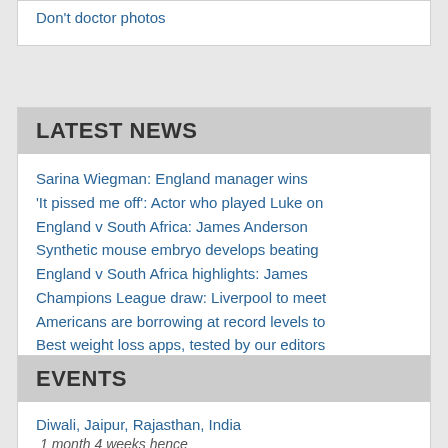Don't doctor photos
LATEST NEWS
Sarina Wiegman: England manager wins
'It pissed me off': Actor who played Luke on
England v South Africa: James Anderson
Synthetic mouse embryo develops beating
England v South Africa highlights: James
Champions League draw: Liverpool to meet
Americans are borrowing at record levels to
Best weight loss apps, tested by our editors
Airsign is a top-notch canister vacuum — but
More
EVENTS
Diwali, Jaipur, Rajasthan, India
1 month 4 weeks hence